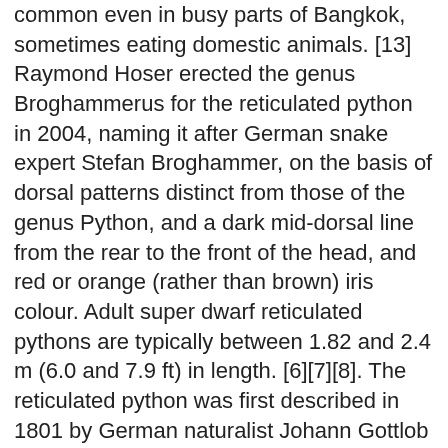common even in busy parts of Bangkok, sometimes eating domestic animals. [13] Raymond Hoser erected the genus Broghammerus for the reticulated python in 2004, naming it after German snake expert Stefan Broghammer, on the basis of dorsal patterns distinct from those of the genus Python, and a dark mid-dorsal line from the rear to the front of the head, and red or orange (rather than brown) iris colour. Adult super dwarf reticulated pythons are typically between 1.82 and 2.4 m (6.0 and 7.9 ft) in length. [6][7][8]. The reticulated python was first described in 1801 by German naturalist Johann Gottlob Theaenus Schneider, who described two zoological specimens held by the Göttingen Museum in 1801 that differed slightly in colour and pattern as separate species—Boa reticulata and Boa rhombeata. While not venomous, large pythons can inflict serious injuries, sometimes stitches! Size can vary a great deal among the subspecies, as each one has a